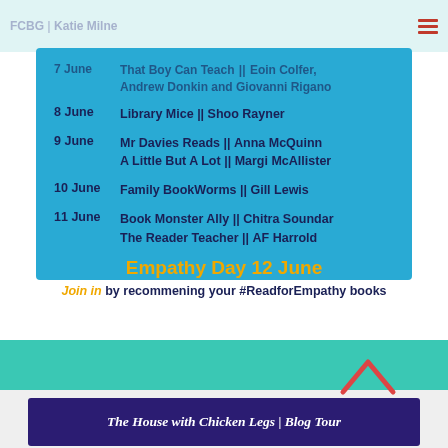FCBG | Katie Miliie
7 June   That Boy Can Teach || Eoin Colfer, Andrew Donkin and Giovanni Rigano
8 June   Library Mice || Shoo Rayner
9 June   Mr Davies Reads || Anna McQuinn
A Little But A Lot || Margi McAllister
10 June  Family BookWorms || Gill Lewis
11 June  Book Monster Ally || Chitra Soundar
The Reader Teacher || AF Harrold
Empathy Day 12 June
Join in by recommening your #ReadforEmpathy books
The House with Chicken Legs | Blog Tour